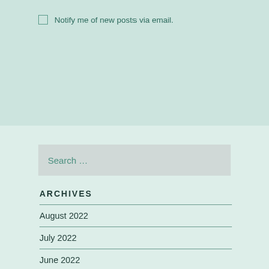Notify me of new posts via email.
Search …
ARCHIVES
August 2022
July 2022
June 2022